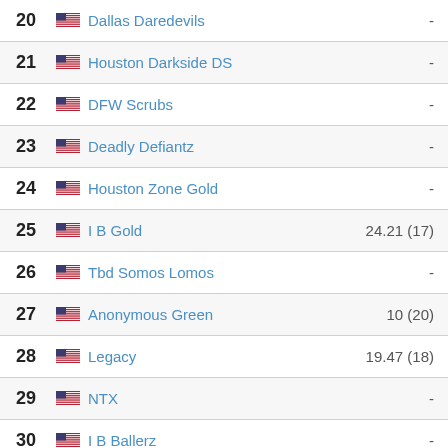| Rank | Flag | Team | Score |
| --- | --- | --- | --- |
| 20 | US | Dallas Daredevils | - |
| 21 | US | Houston Darkside DS | - |
| 22 | US | DFW Scrubs | - |
| 23 | US | Deadly Defiantz | - |
| 24 | US | Houston Zone Gold | - |
| 25 | US | I B Gold | 24.21 (17) |
| 26 | US | Tbd Somos Lomos | - |
| 27 | US | Anonymous Green | 10 (20) |
| 28 | US | Legacy | 19.47 (18) |
| 29 | US | NTX | - |
| 30 | US | I B Ballerz | - |
| 31 | US | TLP Cyclones | - |
| 32 | US | Cartel Paintball Team | 14.74 (19) |
| 33 | US | BK Omen | - |
| 34 | US | Haywire TT | - |